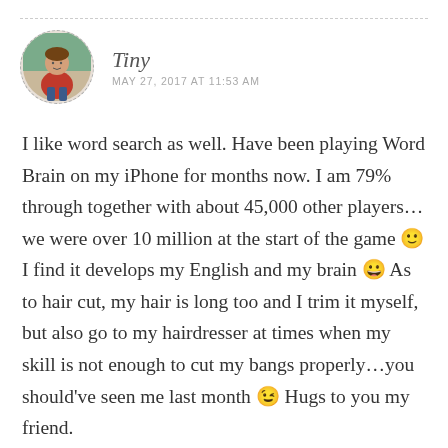[Figure (photo): Circular avatar photo of a person wearing a red top, with a dashed circular border]
Tiny
MAY 27, 2017 AT 11:53 AM
I like word search as well. Have been playing Word Brain on my iPhone for months now. I am 79% through together with about 45,000 other players…we were over 10 million at the start of the game 🙂 I find it develops my English and my brain 😀 As to hair cut, my hair is long too and I trim it myself, but also go to my hairdresser at times when my skill is not enough to cut my bangs properly…you should've seen me last month 😉 Hugs to you my friend.